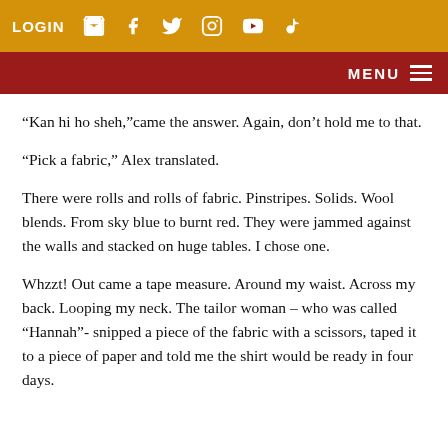LOGIN [cart] [facebook] [twitter] [instagram] [youtube] [tiktok]
MENU
“Kan hi ho sheh,”came the answer. Again, don’t hold me to that.
“Pick a fabric,” Alex translated.
There were rolls and rolls of fabric. Pinstripes. Solids. Wool blends. From sky blue to burnt red. They were jammed against the walls and stacked on huge tables. I chose one.
Whzzt! Out came a tape measure. Around my waist. Across my back. Looping my neck. The tailor woman – who was called “Hannah”- snipped a piece of the fabric with a scissors, taped it to a piece of paper and told me the shirt would be ready in four days.